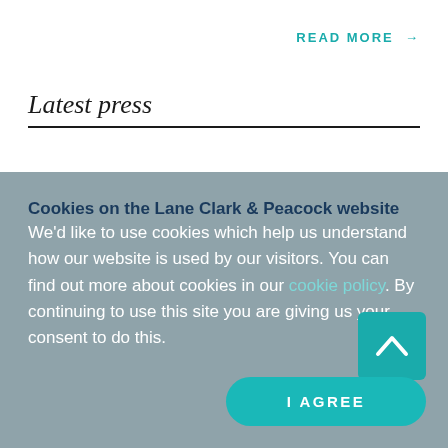READ MORE →
Latest press
Cookies on the Lane Clark & Peacock website
We'd like to use cookies which help us understand how our website is used by our visitors. You can find out more about cookies in our cookie policy. By continuing to use this site you are giving us your consent to do this.
I AGREE